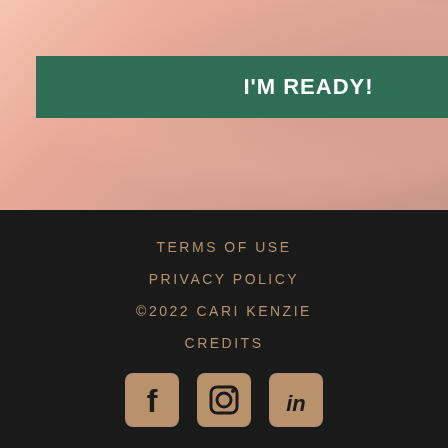[Figure (photo): Pink/peach toned background photo with warm skin-toned gradient]
I'M READY!
TERMS OF USE
PRIVACY POLICY
©2022 CARI KENZIE
CREDITS
[Figure (illustration): Social media icons: Facebook, Instagram, LinkedIn in golden/amber color on dark background]